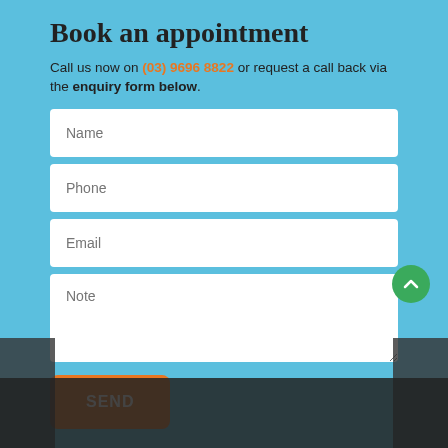Book an appointment
Call us now on (03) 9696 8822 or request a call back via the enquiry form below.
[Figure (screenshot): Contact form with fields: Name, Phone, Email, Note, and a SEND button on a light blue background. A green scroll-to-top button is visible at the bottom right.]